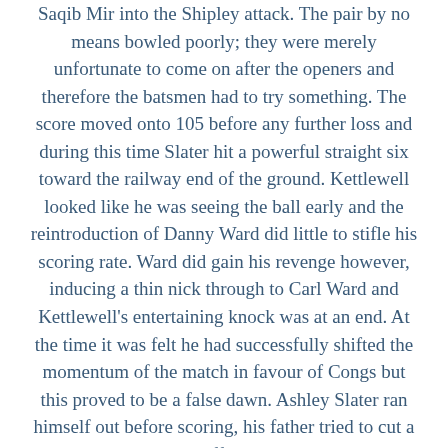Saqib Mir into the Shipley attack. The pair by no means bowled poorly; they were merely unfortunate to come on after the openers and therefore the batsmen had to try something. The score moved onto 105 before any further loss and during this time Slater hit a powerful straight six toward the railway end of the ground. Kettlewell looked like he was seeing the ball early and the reintroduction of Danny Ward did little to stifle his scoring rate. Ward did gain his revenge however, inducing a thin nick through to Carl Ward and Kettlewell's entertaining knock was at an end. At the time it was felt he had successfully shifted the momentum of the match in favour of Congs but this proved to be a false dawn. Ashley Slater ran himself out before scoring, his father tried to cut a ball that tickled his off stump and Dom Allen somewhat injudiciously attempted to charge Ward, yorking himself and getting bowled in the process. When Sam